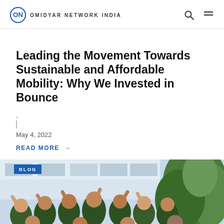ON OMIDYAR NETWORK INDIA
Leading the Movement Towards Sustainable and Affordable Mobility: Why We Invested in Bounce
,
May 4, 2022
READ MORE →
[Figure (photo): Group photo of Bounce team members wearing green polo shirts, smiling and celebrating with raised hands and thumbs up, with a BLOG badge overlay in the top left corner]